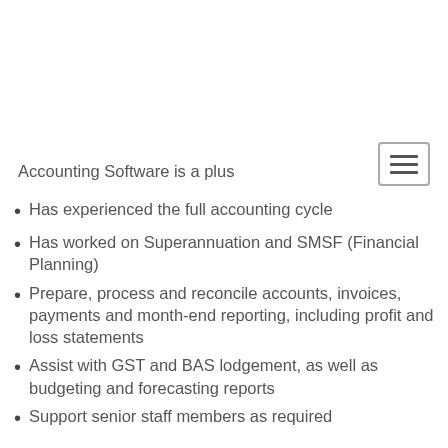Accounting Software is a plus
Has experienced the full accounting cycle
Has worked on Superannuation and SMSF (Financial Planning)
Prepare, process and reconcile accounts, invoices, payments and month-end reporting, including profit and loss statements
Assist with GST and BAS lodgement, as well as budgeting and forecasting reports
Support senior staff members as required